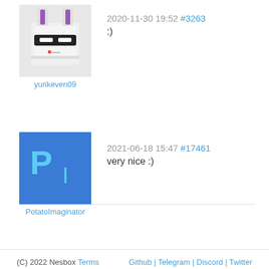[Figure (illustration): Pixel art avatar of a white rabbit/bunny with purple ears, dark glasses/mask, and pixel art style. Username: yurikeven09]
2020-11-30 19:52 #3263
:)
[Figure (illustration): Blue square logo with 'PI' pixel art text. Username: PotatoImaginator]
2021-06-18 15:47 #17461
very nice :)
[Figure (illustration): Dark pixel art avatar showing a blue game controller. Username: Gamework]
2021-11-08 03:59 #17888
How do you make the copy
Post comment
(C) 2022 Nesbox Terms | Github | Telegram | Discord | Twitter